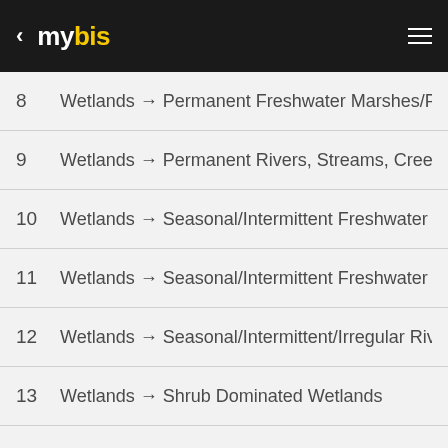mybis
8   Wetlands → Permanent Freshwater Marshes/Pools [unc
9   Wetlands → Permanent Rivers, Streams, Creeks [includ
10  Wetlands → Seasonal/Intermittent Freshwater Lakes [ov
11  Wetlands → Seasonal/Intermittent Freshwater Marshes/
12  Wetlands → Seasonal/Intermittent/Irregular Rivers, Stre
13  Wetlands → Shrub Dominated Wetlands
References : http://www.iucnredlist.org/technical-documents/classification-schemes/habitats-classification-scheme-ver3